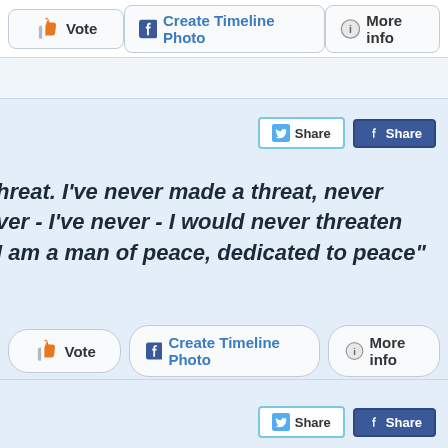[Figure (screenshot): Top navigation bar with Vote, Create Timeline Photo, and More info buttons]
[Figure (screenshot): Quote card with Twitter and Facebook share buttons, bold italic quote text, and bottom action buttons (Vote, Create Timeline Photo, More info)]
hreat. I've never made a threat, never ver - I've never - I would never threaten I am a man of peace, dedicated to peace"
[Figure (screenshot): Partial bottom card with Twitter Share and Facebook Share buttons]